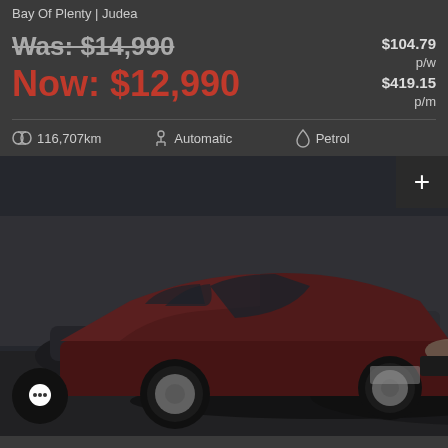Bay Of Plenty | Judea
Was: $14,990
Now: $12,990
$104.79 p/w
$419.15 p/m
116,707km | Automatic | Petrol
[Figure (photo): Dark red/maroon SUV (Mazda CX-7 or similar) parked in a car dealership lot, front three-quarter view, with other vehicles visible in the background. Photo has dark overlay.]